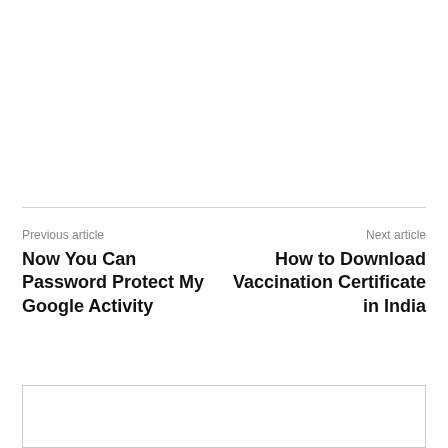Previous article
Now You Can Password Protect My Google Activity
Next article
How to Download Vaccination Certificate in India